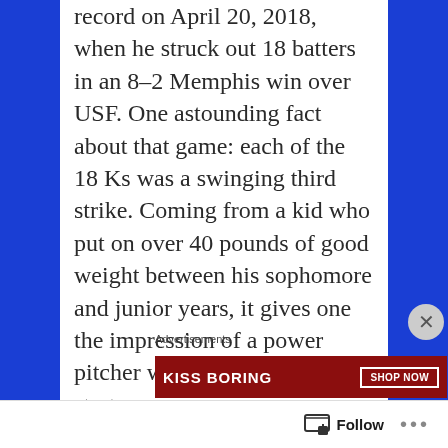record on April 20, 2018, when he struck out 18 batters in an 8-2 Memphis win over USF. One astounding fact about that game: each of the 18 Ks was a swinging third strike. Coming from a kid who put on over 40 pounds of good weight between his sophomore and junior years, it gives one the impression of a power pitcher willing to go deep into starts.
Advertisements
[Figure (screenshot): Dark advertisement for Sensei showing logo with tree icon and text 'Launch your online']
Advertisements
[Figure (screenshot): Red advertisement banner with text 'KISS BORING' and 'SHOP NOW' button]